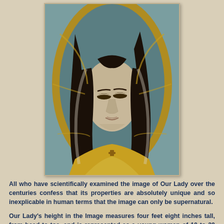[Figure (photo): Close-up painting of Our Lady of Guadalupe showing her face and upper body with downcast eyes, dark hair, golden mandorla border, and ornate golden garments with stars]
All who have scientifically examined the image of Our Lady over the centuries confess that its properties are absolutely unique and so inexplicable in human terms that the image can only be supernatural.
Our Lady's height in the Image measures four feet eight inches tall, from head to toe, and is represented as a young woman of 10 to 20 year old. The face is that of a